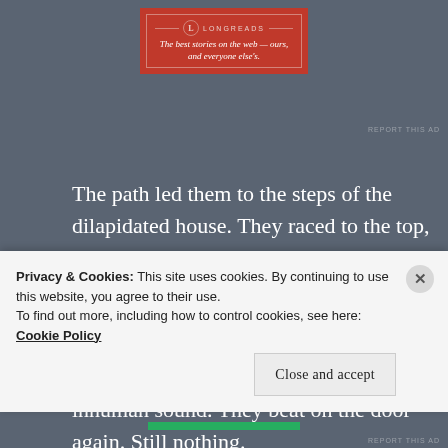[Figure (logo): Longreads ad banner with red background and tagline: The best stories on the web — ours, and everyone else's.]
The path led them to the steps of the dilapidated house. They raced to the top, hammering on the door. Nothing.
The father noticed a solitary box of cookies near his feet, and he made an inhuman sound. They beat on the door again. Still nothing.
Privacy & Cookies: This site uses cookies. By continuing to use this website, you agree to their use.
To find out more, including how to control cookies, see here: Cookie Policy
Close and accept